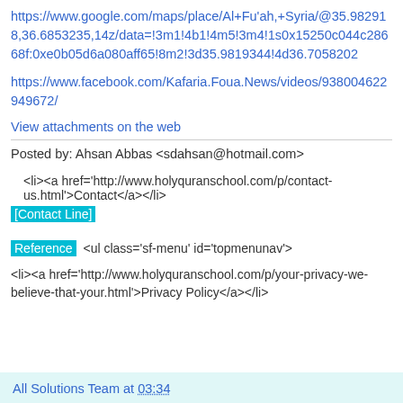https://www.google.com/maps/place/Al+Fu'ah,+Syria/@35.982918,36.6853235,14z/data=!3m1!4b1!4m5!3m4!1s0x15250c044c28668f:0xe0b05d6a080aff65!8m2!3d35.9819344!4d36.7058202
https://www.facebook.com/Kafaria.Foua.News/videos/938004622949672/
View attachments on the web
Posted by: Ahsan Abbas <sdahsan@hotmail.com>
<li><a href='http://www.holyquranschool.com/p/contact-us.html'>Contact</a></li>
[Contact Line]
Reference <ul class='sf-menu' id='topmenunav'>
<li><a href='http://www.holyquranschool.com/p/your-privacy-we-believe-that-your.html'>Privacy Policy</a></li>
All Solutions Team at 03:34